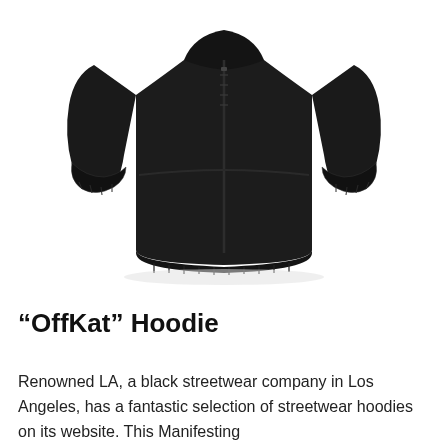[Figure (photo): A black zip-up hoodie/fleece jacket displayed flat against a white background. The jacket is fully black with ribbed cuffs, a zip-front closure, and a kangaroo-style pocket area. Both sleeves are extended outward.]
“OffKat” Hoodie
Renowned LA, a black streetwear company in Los Angeles, has a fantastic selection of streetwear hoodies on its website. This Manifesting